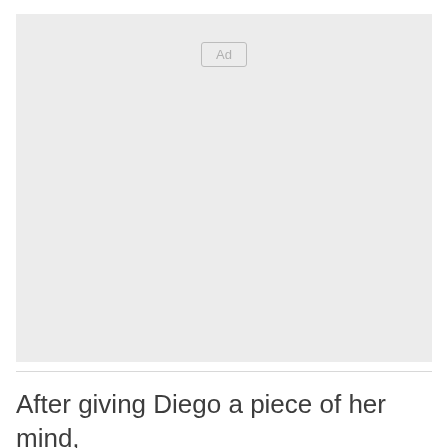[Figure (other): Advertisement placeholder box with light gray background and 'Ad' label centered near the top]
After giving Diego a piece of her mind,